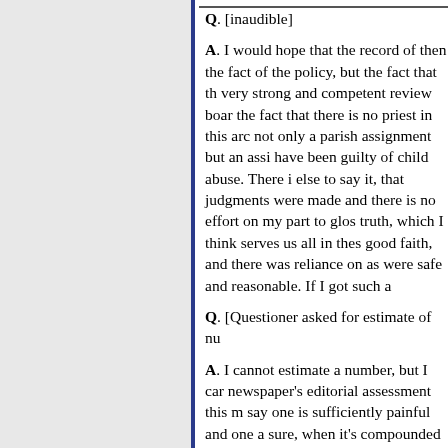Q. [inaudible]
A. I would hope that the record of then the fact of the policy, but the fact that th very strong and competent review boar the fact that there is no priest in this arc not only a parish assignment but an assi have been guilty of child abuse. There i else to say it, that judgments were made and there is no effort on my part to glos truth, which I think serves us all in thes good faith, and there was reliance on as were safe and reasonable. If I got such a
Q. [Questioner asked for estimate of nu
A. I cannot estimate a number, but I car newspaper's editorial assessment this m say one is sufficiently painful and one a sure, when it's compounded it just beco one act of abuse of a minor by a priest i
I am sending this statement by fax to al them to use it in whatever [way] they de